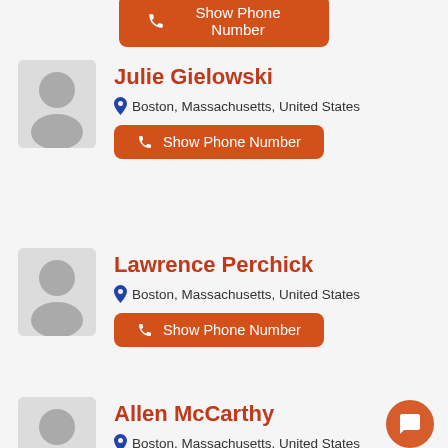[Figure (other): Partial orange 'Show Phone Number' button at top of page]
[Figure (photo): Placeholder avatar icon for Julie Gielowski]
Julie Gielowski
Boston, Massachusetts, United States
[Figure (other): Orange 'Show Phone Number' button for Julie Gielowski]
[Figure (photo): Placeholder avatar icon for Lawrence Perchick]
Lawrence Perchick
Boston, Massachusetts, United States
[Figure (other): Orange 'Show Phone Number' button for Lawrence Perchick]
[Figure (photo): Placeholder avatar icon for Allen McCarthy]
Allen McCarthy
Boston, Massachusetts, United States